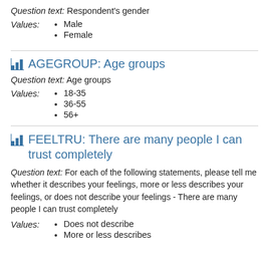Question text: Respondent's gender
Values:
Male
Female
AGEGROUP: Age groups
Question text: Age groups
Values:
18-35
36-55
56+
FEELTRU: There are many people I can trust completely
Question text: For each of the following statements, please tell me whether it describes your feelings, more or less describes your feelings, or does not describe your feelings - There are many people I can trust completely
Values:
Does not describe
More or less describes